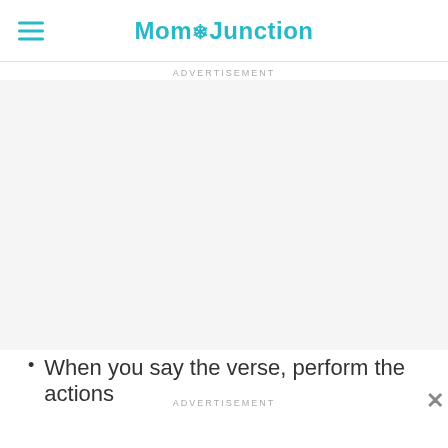MomJunction
ADVERTISEMENT
When you say the verse, perform the actions
ADVERTISEMENT